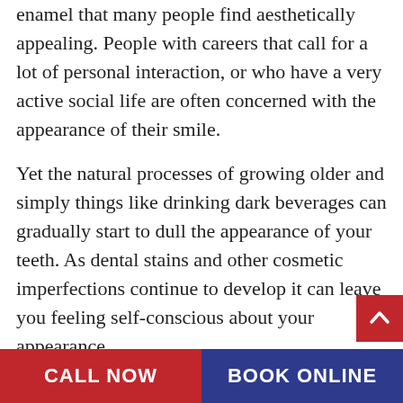enamel that many people find aesthetically appealing. People with careers that call for a lot of personal interaction, or who have a very active social life are often concerned with the appearance of their smile.
Yet the natural processes of growing older and simply things like drinking dark beverages can gradually start to dull the appearance of your teeth. As dental stains and other cosmetic imperfections continue to develop it can leave you feeling self-conscious about your appearance.
In these moments it's best to turn to a professionally trained dentist like Dr. Ahmad J Akram to better understand your options for
CALL NOW   BOOK ONLINE